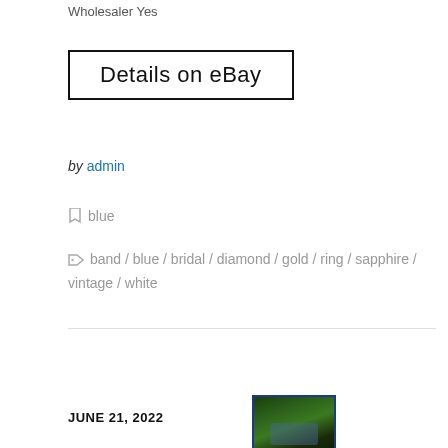Wholesaler Yes
[Figure (other): Details on eBay button — a rectangular bordered button with text 'Details on eBay']
by admin
blue
band / blue / bridal / diamond / gold / ring / sapphire / vintage / white
JUNE 21, 2022
[Figure (photo): Small thumbnail photo of a plant or flower, dark green background with blue-tinted subject, bordered in dark blue]